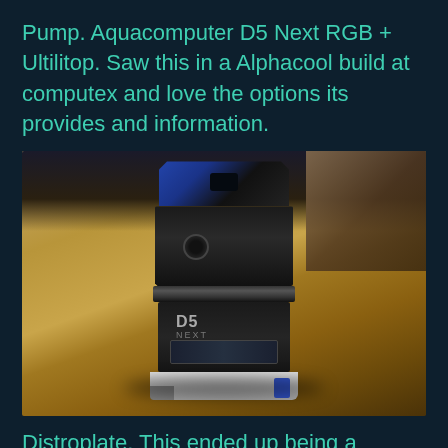Pump. Aquacomputer D5 Next RGB + Ultilitop. Saw this in a Alphacool build at computex and love the options its provides and information.
[Figure (photo): Photo of an Aquacomputer D5 Next RGB pump with Ultilitop sitting on a wooden surface. The pump is predominantly black with a blue/dark top cap, grooved cylindrical body with D5 NEXT branding, a display screen, and a white/light grey base. The background shows a wooden desk with some cables and equipment visible.]
Distroplate. This ended up being a problem as